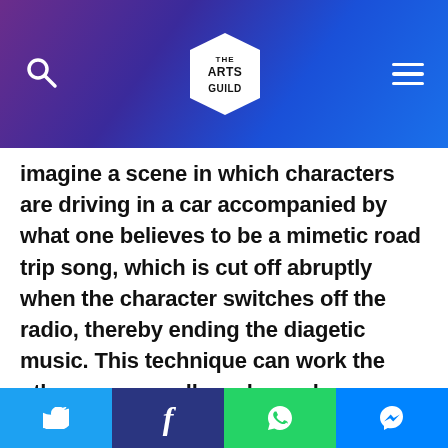THE ARTS GUILD
imagine a scene in which characters are driving in a car accompanied by what one believes to be a mimetic road trip song, which is cut off abruptly when the character switches off the radio, thereby ending the diagetic music. This technique can work the other way as well, such as when a character is seen listening to music that continues to play even after a new scene has been introduced. Although diagetic sound is necessary to allow an audience to understand what exactly a character is able to hear at a given time, mimetic sound is equally important
Twitter | Facebook | WhatsApp | Messenger